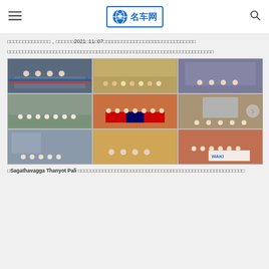名车网 (mingchewang logo header)
□□□□□□□□□□□□□□, □□□□□□2021□11□07□□□□□□□□□□□□□□□□□□□□□□□□□□□□□□
□□□□□□□□□□□□□□□□□□□□□□□□□□□□□□□□□□□□□□□□□□□□□□□□□□□□□□□□□□□□□□□□□□□□□□□□□□
[Figure (photo): 3x3 grid of 9 group photos showing people at various events, some with flags (Cambodia, Malaysia, Indonesia), masked and unmasked groups in indoor settings]
□Sagathavagga Thanyot Pali □□□□□□□□□□□□□□□□□□□□□□□□□□□□□□□□□□□□□□□□□□□□□□□□□□□□□□